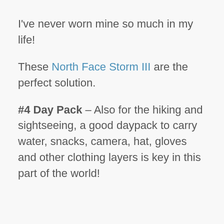I've never worn mine so much in my life!
These North Face Storm III are the perfect solution.
#4 Day Pack – Also for the hiking and sightseeing, a good daypack to carry water, snacks, camera, hat, gloves and other clothing layers is key in this part of the world!